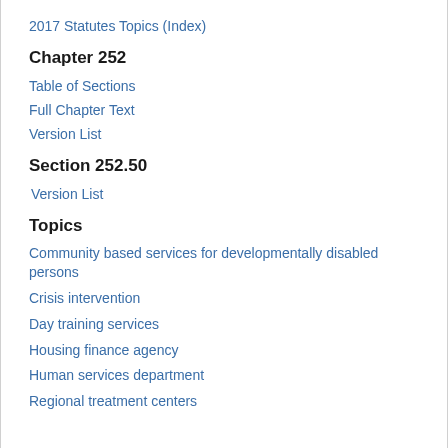2017 Statutes Topics (Index)
Chapter 252
Table of Sections
Full Chapter Text
Version List
Section 252.50
Version List
Topics
Community based services for developmentally disabled persons
Crisis intervention
Day training services
Housing finance agency
Human services department
Regional treatment centers